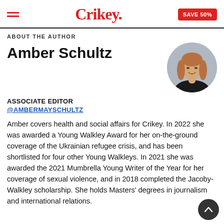Crikey.
ABOUT THE AUTHOR
Amber Schultz
[Figure (photo): Circular portrait photo of Amber Schultz, a woman with long reddish-blonde hair, smiling, against a grey background, wearing a dark top.]
ASSOCIATE EDITOR
@AMBERMAYSCHULTZ
Amber covers health and social affairs for Crikey. In 2022 she was awarded a Young Walkley Award for her on-the-ground coverage of the Ukrainian refugee crisis, and has been shortlisted for four other Young Walkleys. In 2021 she was awarded the 2021 Mumbrella Young Writer of the Year for her coverage of sexual violence, and in 2018 completed the Jacoby-Walkley scholarship. She holds Masters' degrees in journalism and international relations.